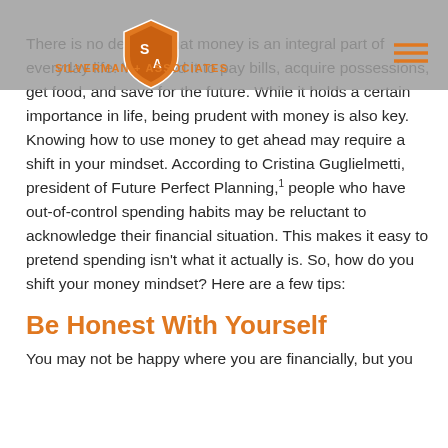SILVERMAN + ASSOCIATES
There is no denying that money is an integral part of everyday life. You need it to pay bills, acquire possessions, get food, and save for the future. While it holds a certain importance in life, being prudent with money is also key. Knowing how to use money to get ahead may require a shift in your mindset. According to Cristina Guglielmetti, president of Future Perfect Planning,1 people who have out-of-control spending habits may be reluctant to acknowledge their financial situation. This makes it easy to pretend spending isn't what it actually is. So, how do you shift your money mindset? Here are a few tips:
Be Honest With Yourself
You may not be happy where you are financially, but you